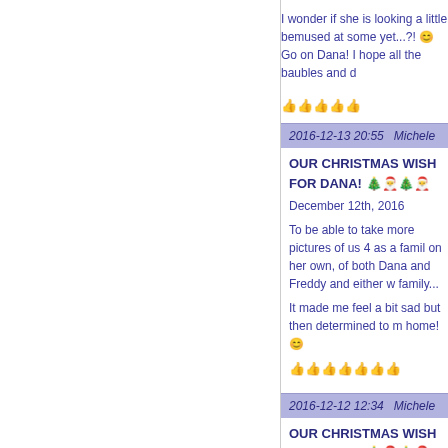I wonder if she is looking a little bemused at some yet...?! 😊 Go on Dana! I hope all the baubles and d
👍👍👍👍👍
2016-12-13 20:55   Michele
OUR CHRISTMAS WISH FOR DANA! 🎄🎅🎄🎅
December 12th, 2016
To be able to take more pictures of us 4 as a family on her own, of both Dana and Freddy and either w family...
It made me feel a bit sad but then determined to m home! 😊
👍👍👍👍👍👍👍
2016-12-12 12:34   Michele
OUR CHRISTMAS WISH FOR DANA! 🎄🎅🎄🎅
December 11th, 2016 - Our Christmas Wish For D